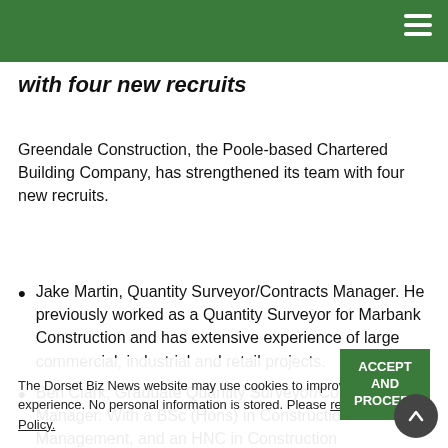with four new recruits
Greendale Construction, the Poole-based Chartered Building Company, has strengthened its team with four new recruits.
Jake Martin, Quantity Surveyor/Contracts Manager. He previously worked as a Quantity Surveyor for Marbank Construction and has extensive experience of large commercial, industrial and retail projects.
Ben Clark, Graduate Quantity Surveyor/Contracts Manager. With a BSc (Hons) in Construction Management, and an HNC in Construction Management (CITB), he gained previous experience as
The Dorset Biz News website may use cookies to improve your experience. No personal information is stored. Please read our Privacy Policy.
ACCEPT AND PROCEED